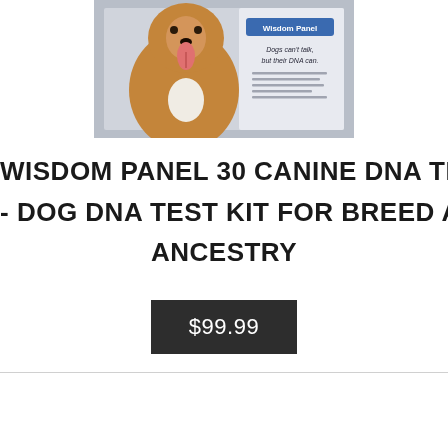[Figure (photo): Product photo of Wisdom Panel 30 Canine DNA Test kit box showing a dog and text 'Dogs can't talk, but their DNA can']
WISDOM PANEL 30 CANINE DNA TEST - DOG DNA TEST KIT FOR BREED AND ANCESTRY
$99.99